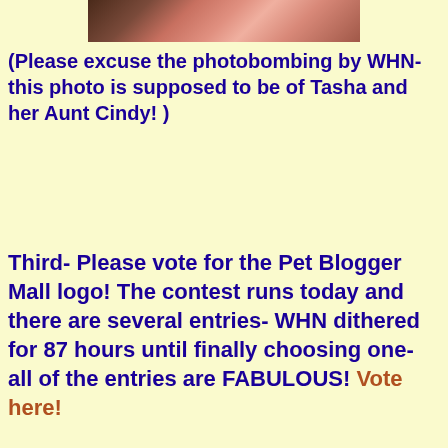[Figure (photo): Partial photo strip at top showing cropped image of people including Tasha and her Aunt Cindy]
(Please excuse the photobombing by WHN- this photo is supposed to be of Tasha and her Aunt Cindy! )
Third- Please vote for the Pet Blogger Mall logo!  The contest runs today and there are several entries- WHN dithered for 87 hours until finally choosing one- all of the entries are FABULOUS!  Vote here!